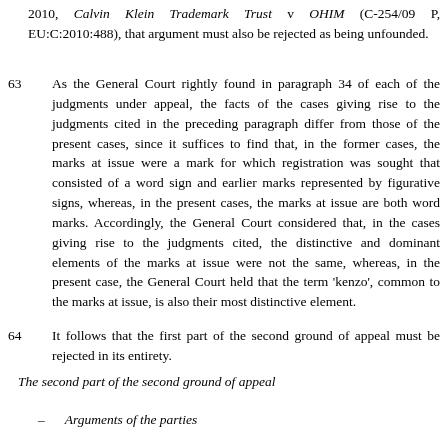2010, Calvin Klein Trademark Trust v OHIM (C-254/09 P, EU:C:2010:488), that argument must also be rejected as being unfounded.
63   As the General Court rightly found in paragraph 34 of each of the judgments under appeal, the facts of the cases giving rise to the judgments cited in the preceding paragraph differ from those of the present cases, since it suffices to find that, in the former cases, the marks at issue were a mark for which registration was sought that consisted of a word sign and earlier marks represented by figurative signs, whereas, in the present cases, the marks at issue are both word marks. Accordingly, the General Court considered that, in the cases giving rise to the judgments cited, the distinctive and dominant elements of the marks at issue were not the same, whereas, in the present case, the General Court held that the term 'kenzo', common to the marks at issue, is also their most distinctive element.
64   It follows that the first part of the second ground of appeal must be rejected in its entirety.
The second part of the second ground of appeal
– Arguments of the parties